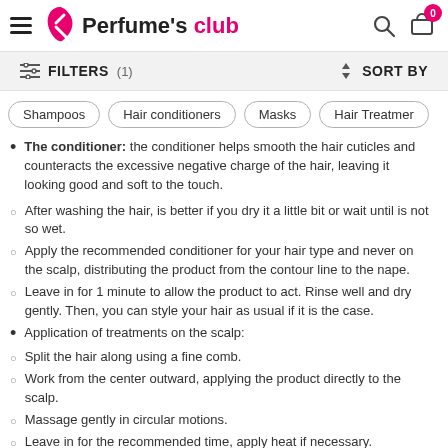Perfume's club
FILTERS (1)   SORT BY
Shampoos   Hair conditioners   Masks   Hair Treatments
The conditioner: the conditioner helps smooth the hair cuticles and counteracts the excessive negative charge of the hair, leaving it looking good and soft to the touch.
After washing the hair, is better if you dry it a little bit or wait until is not so wet.
Apply the recommended conditioner for your hair type and never on the scalp, distributing the product from the contour line to the nape.
Leave in for 1 minute to allow the product to act. Rinse well and dry gently. Then, you can style your hair as usual if it is the case.
Application of treatments on the scalp:
Split the hair along using a fine comb.
Work from the center outward, applying the product directly to the scalp.
Massage gently in circular motions.
Leave in for the recommended time, apply heat if necessary.
Rinse or leave the product in depending on its characteristics and the needs of our hair.
The treatment based on serums or a specific treatment: